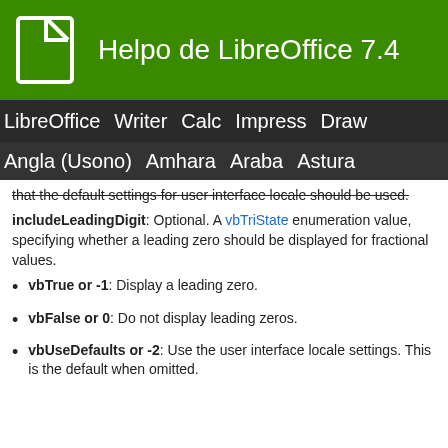Helpo de LibreOffice 7.4
LibreOffice Writer Calc Impress Draw
Angla (Usono) Amhara Araba Astura
that the default settings for user interface locale should be used.
includeLeadingDigit: Optional. A vbTriState enumeration value, specifying whether a leading zero should be displayed for fractional values.
vbTrue or -1: Display a leading zero.
vbFalse or 0: Do not display leading zeros.
vbUseDefaults or -2: Use the user interface locale settings. This is the default when omitted.